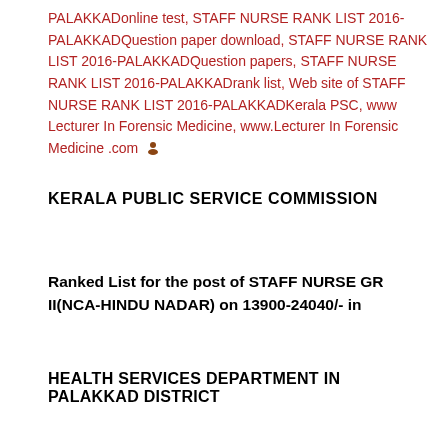PALAKKADonline test, STAFF NURSE RANK LIST 2016-PALAKKADQuestion paper download, STAFF NURSE RANK LIST 2016-PALAKKADQuestion papers, STAFF NURSE RANK LIST 2016-PALAKKADrank list, Web site of STAFF NURSE RANK LIST 2016-PALAKKADKerala PSC, www Lecturer In Forensic Medicine, www.Lecturer In Forensic Medicine .com
KERALA PUBLIC SERVICE COMMISSION
Ranked List for the post of STAFF NURSE GR II(NCA-HINDU NADAR) on 13900-24040/- in
HEALTH SERVICES DEPARTMENT IN PALAKKAD DISTRICT